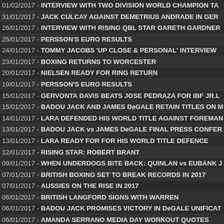01/02/2017 - INTERVIEW WITH TWO DIVISION WORLD CHAMPION TA...
31/01/2017 - JACK CULCAY AGAINST DEMETRIUS ANDRADE IN GER...
26/01/2017 - INTERVIEW WITH RISING QBL STAR GARETH GARDNER...
25/01/2017 - PERSSON'S EURO RESULTS
24/01/2017 - TOMMY JACOBS 'UP CLOSE & PERSONAL' INTERVIEW
23/01/2017 - BOXING RETURNS TO WORCESTER
20/01/2017 - NIELSEN READY FOR RING RETURN
19/01/2017 - PERSSON'S EURO RESULTS
15/01/2017 - GERVONTA DAVIS BEATS JOSE PEDRAZA FOR IBF JR.L...
15/01/2017 - BADOU JACK AND JAMES DeGALE RETAIN TITLES ON M...
14/01/2017 - LARA DEFENDED HIS WORLD TITLE AGAINST FOREMAN...
13/01/2017 - BADOU JACK vs JAMES DeGALE FINAL PRESS CONFER...
13/01/2017 - LARA READY FOR FOR HIS WORLD TITLE DEFENCE
12/01/2017 - RISING STAR: ROBERT BRANT
09/01/2017 - WHEN UNDERDOGS BITE BACK: QUINLAN vs EUBANK J...
07/01/2017 - BRITISH BOXING SET TO BREAK RECORDS IN 2017
07/01/2017 - AUSSIES ON THE RISE IN 2017
06/01/2017 - BRITISH LANGFORD SIGNS WITH WARREN
06/01/2017 - BADOU JACK PROMISES VICTORY IN DeGALE UNIFICAT...
06/01/2017 - AMANDA SERRANO MEDIA DAY WORKOUT QUOTES
06/01/2017 - COTTO SAYS 2017 LAST YEAR IN BOXING
06/01/2017 - SIZING UP JOSHUA VS KLITSCHKO
06/01/2017 - JEFF HORN IS CONFIDENT HE CAN BEAT MANNY PACQ...
06/01/2017 - BOB ARUM LIKELY TO GRANT PACQUIAO $20 MILLION
06/01/2017 - $20 MILLION ASKING PRICE IS OK BUT ...
05/01/2017 - ANTHONY YIGIT IN LONDON ON FEBRUARY 11
05/01/2017 - DeGALE: CAREER MIGHT ONLY LAST FIVE BOUTS